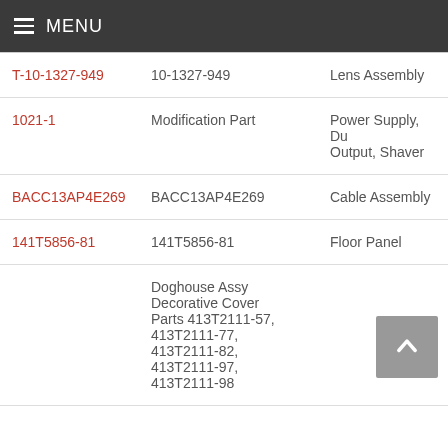MENU
| Link | Part Number | Description |
| --- | --- | --- |
| T-10-1327-949 | 10-1327-949 | Lens Assembly |
| 1021-1 | Modification Part | Power Supply, Dual Output, Shaver |
| BACC13AP4E269 | BACC13AP4E269 | Cable Assembly |
| 141T5856-81 | 141T5856-81 | Floor Panel |
|  | Doghouse Assy Decorative Cover Parts 413T2111-57, 413T2111-77, 413T2111-82, 413T2111-97, 413T2111-98 |  |